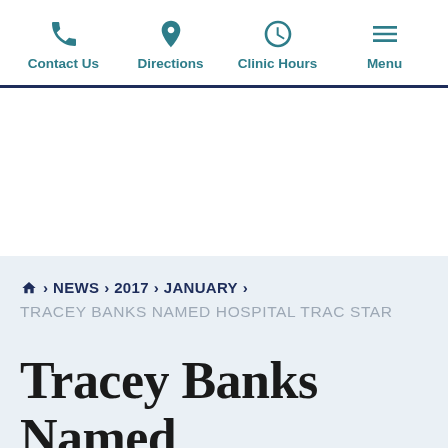Contact Us | Directions | Clinic Hours | Menu
home > NEWS > 2017 > JANUARY > TRACEY BANKS NAMED HOSPITAL TRAC STAR
Tracey Banks Named